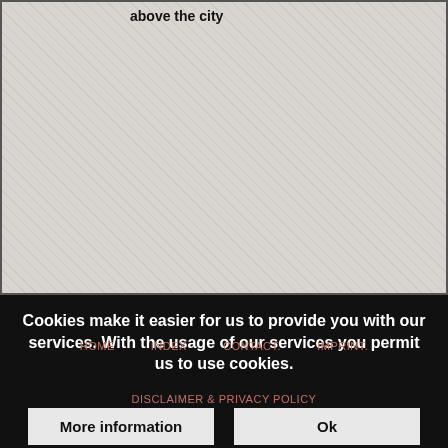[Figure (photo): Large image area with light gray textured background, partially visible at top of page]
above the city
Cookies make it easier for us to provide you with our services. With the usage of our services you permit us to use cookies.
HOME    INDEX    CONTACT.    IMPRINT.
DISCLAIMER & PRIVACY POLICY
More information    Ok